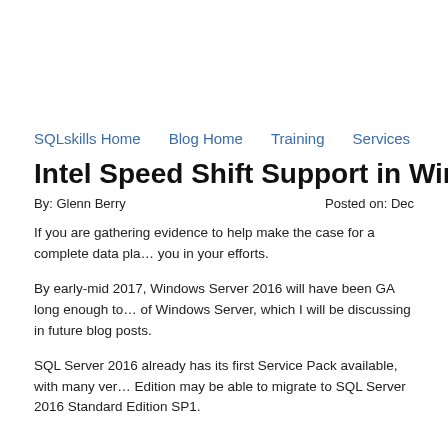SQLskills Home  Blog Home  Training  Services
Intel Speed Shift Support in Windows Server
By: Glenn Berry    Posted on: Dec
If you are gathering evidence to help make the case for a complete data pla... you in your efforts.
By early-mid 2017, Windows Server 2016 will have been GA long enough to... of Windows Server, which I will be discussing in future blog posts.
SQL Server 2016 already has its first Service Pack available, with many ver... Edition may be able to migrate to SQL Server 2016 Standard Edition SP1.